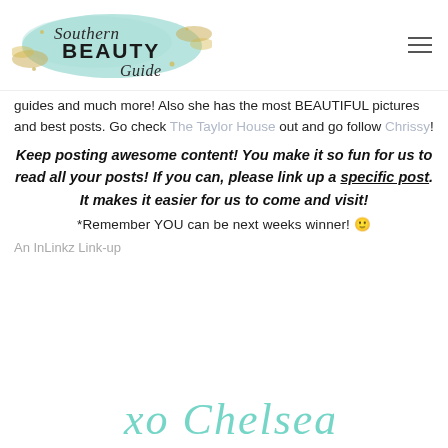[Figure (logo): Southern Beauty Guide logo with gold glitter and teal watercolor splash background, script and bold serif font]
guides and much more! Also she has the most BEAUTIFUL pictures and best posts. Go check The Taylor House out and go follow Chrissy!
Keep posting awesome content! You make it so fun for us to read all your posts! If you can, please link up a specific post. It makes it easier for us to come and visit!
*Remember YOU can be next weeks winner! 🙂
An InLinkz Link-up
[Figure (illustration): Teal cursive signature reading 'xo Chelsea']